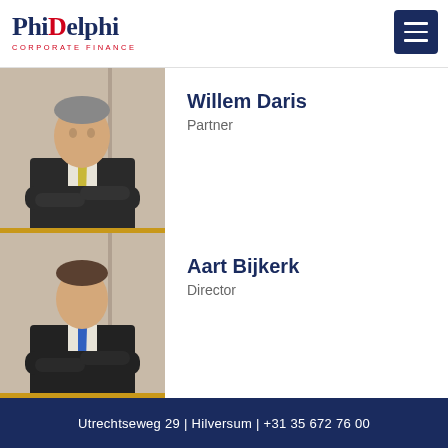[Figure (logo): PhiDelphi Corporate Finance logo with red dot accents]
[Figure (photo): Hamburger menu icon button, dark navy background]
[Figure (photo): Professional portrait photo of Willem Daris in dark suit with yellow tie, arms crossed]
Willem Daris
Partner
[Figure (photo): Professional portrait photo of Aart Bijkerk in dark suit with blue tie, arms crossed]
Aart Bijkerk
Director
Utrechtseweg 29 | Hilversum | +31 35 672 76 00